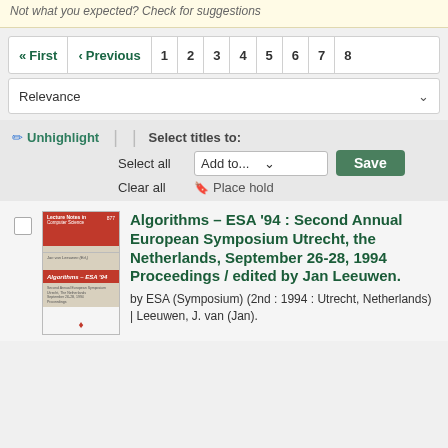Not what you expected? Check for suggestions
« First  < Previous  1  2  3  4  5  6  7  8
Relevance
✏ Unhighlight | | Select titles to: Select all Add to... Save Clear all 🔖 Place hold
[Figure (photo): Book cover of Algorithms – ESA '94, Lecture Notes in Computer Science series, red and grey cover]
Algorithms – ESA '94 : Second Annual European Symposium Utrecht, the Netherlands, September 26-28, 1994 Proceedings / edited by Jan Leeuwen.
by ESA (Symposium) (2nd : 1994 : Utrecht, Netherlands) | Leeuwen, J. van (Jan).